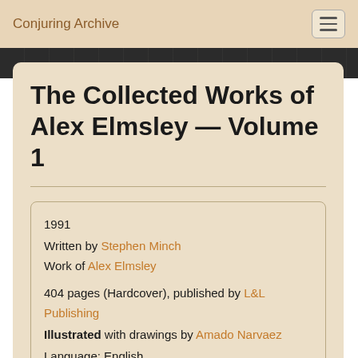Conjuring Archive
The Collected Works of Alex Elmsley — Volume 1
1991
Written by Stephen Minch
Work of Alex Elmsley

404 pages (Hardcover), published by L&L Publishing
Illustrated with drawings by Amado Narvaez
Language: English